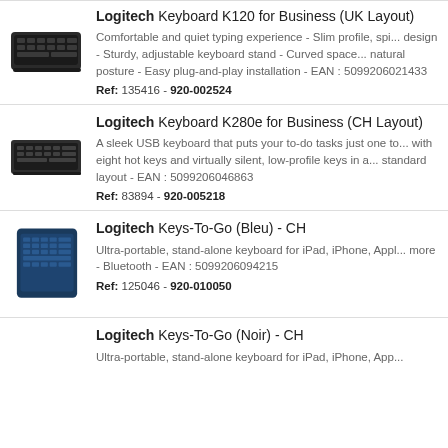[Figure (photo): Logitech Keyboard K120 for Business product photo]
Logitech Keyboard K120 for Business (UK Layout)
Comfortable and quiet typing experience - Slim profile, spi... design - Sturdy, adjustable keyboard stand - Curved space... natural posture - Easy plug-and-play installation - EAN : 5099206021433
Ref: 135416 - 920-002524
[Figure (photo): Logitech Keyboard K280e for Business product photo]
Logitech Keyboard K280e for Business (CH Layout)
A sleek USB keyboard that puts your to-do tasks just one to... with eight hot keys and virtually silent, low-profile keys in a... standard layout - EAN : 5099206046863
Ref: 83894 - 920-005218
[Figure (photo): Logitech Keys-To-Go (Bleu) - CH product photo]
Logitech Keys-To-Go (Bleu) - CH
Ultra-portable, stand-alone keyboard for iPad, iPhone, Appl... more - Bluetooth - EAN : 5099206094215
Ref: 125046 - 920-010050
[Figure (photo): Logitech Keys-To-Go (Noir) - CH product photo]
Logitech Keys-To-Go (Noir) - CH
Ultra-portable, stand-alone keyboard for iPad, iPhone, App...